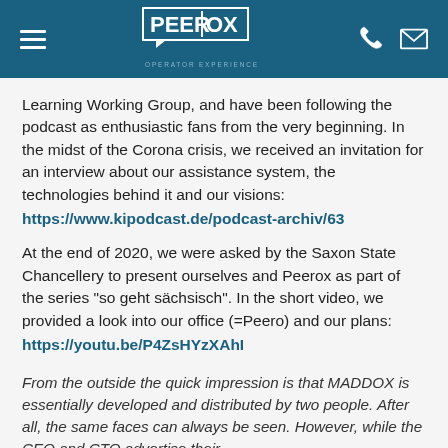PEEROX OPERATOR EXPERIENCE
Learning Working Group, and have been following the podcast as enthusiastic fans from the very beginning. In the midst of the Corona crisis, we received an invitation for an interview about our assistance system, the technologies behind it and our visions:
https://www.kipodcast.de/podcast-archiv/63
At the end of 2020, we were asked by the Saxon State Chancellery to present ourselves and Peerox as part of the series "so geht sächsisch". In the short video, we provided a look into our office (=Peero) and our plans:
https://youtu.be/P4ZsHYzXAhI
From the outside the quick impression is that MADDOX is essentially developed and distributed by two people. After all, the same faces can always be seen. However, while the CEO and CTO advertise their